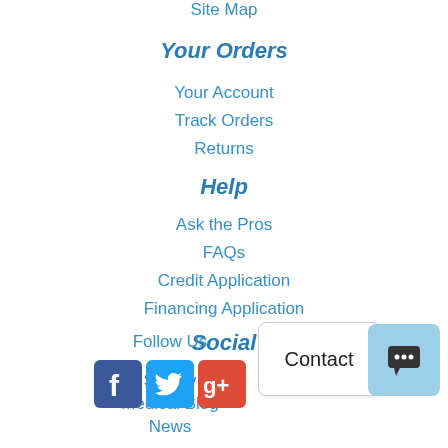Site Map
Your Orders
Your Account
Track Orders
Returns
Help
Ask the Pros
FAQs
Credit Application
Financing Application
Social
Survey
Medical Blog
News
Follow Us
[Figure (illustration): Social media icons: Facebook, Twitter, Google+]
[Figure (screenshot): Contact button and chat button UI elements]